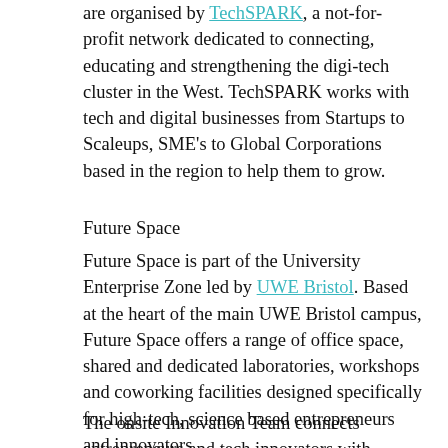are organised by TechSPARK, a not-for-profit network dedicated to connecting, educating and strengthening the digi-tech cluster in the West. TechSPARK works with tech and digital businesses from Startups to Scaleups, SME's to Global Corporations based in the region to help them to grow.
Future Space
Future Space is part of the University Enterprise Zone led by UWE Bristol. Based at the heart of the main UWE Bristol campus, Future Space offers a range of office space, shared and dedicated laboratories, workshops and coworking facilities designed specifically for high-tech, science based entrepreneurs and innovators.
The onsite Innovation Team connects entrepreneurs and tech innovators with scientists, researchers and